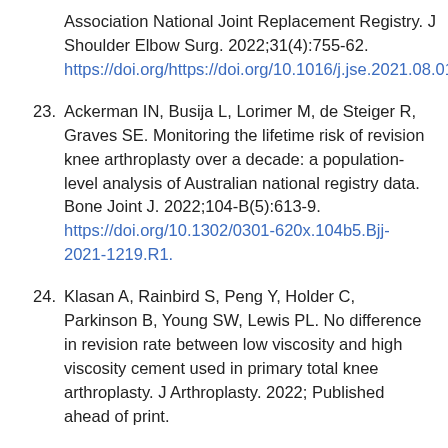Association National Joint Replacement Registry. J Shoulder Elbow Surg. 2022;31(4):755-62. https://doi.org/https://doi.org/10.1016/j.jse.2021.08.017.
23. Ackerman IN, Busija L, Lorimer M, de Steiger R, Graves SE. Monitoring the lifetime risk of revision knee arthroplasty over a decade: a population-level analysis of Australian national registry data. Bone Joint J. 2022;104-B(5):613-9. https://doi.org/10.1302/0301-620x.104b5.Bjj-2021-1219.R1.
24. Klasan A, Rainbird S, Peng Y, Holder C, Parkinson B, Young SW, Lewis PL. No difference in revision rate between low viscosity and high viscosity cement used in primary total knee arthroplasty. J Arthroplasty. 2022; Published ahead of print.